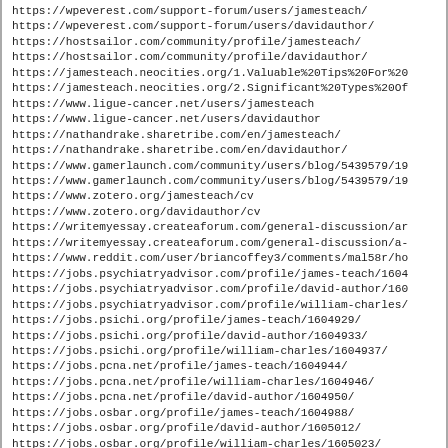https://wpeverest.com/support-forum/users/jamesteach/
https://wpeverest.com/support-forum/users/davidauthor/
https://hostsailor.com/community/profile/jamesteach/
https://hostsailor.com/community/profile/davidauthor/
https://jamesteach.neocities.org/1.Valuable%20Tips%20For%20
https://jamesteach.neocities.org/2.Significant%20Types%20Of
https://www.ligue-cancer.net/users/jamesteach
https://www.ligue-cancer.net/users/davidauthor
https://nathandrake.sharetribe.com/en/jamesteach/
https://nathandrake.sharetribe.com/en/davidauthor/
https://www.gamerlaunch.com/community/users/blog/5439579/19
https://www.gamerlaunch.com/community/users/blog/5439579/19
https://www.zotero.org/jamesteach/cv
https://www.zotero.org/davidauthor/cv
https://writemyessay.createaforum.com/general-discussion/ar
https://writemyessay.createaforum.com/general-discussion/a-
https://www.reddit.com/user/briancoffey3/comments/mal58r/ho
https://jobs.psychiatryadvisor.com/profile/james-teach/1604
https://jobs.psychiatryadvisor.com/profile/david-author/160
https://jobs.psychiatryadvisor.com/profile/william-charles/
https://jobs.psichi.org/profile/james-teach/1604929/
https://jobs.psichi.org/profile/david-author/1604933/
https://jobs.psichi.org/profile/william-charles/1604937/
https://jobs.pcna.net/profile/james-teach/1604944/
https://jobs.pcna.net/profile/william-charles/1604946/
https://jobs.pcna.net/profile/david-author/1604950/
https://jobs.osbar.org/profile/james-teach/1604988/
https://jobs.osbar.org/profile/david-author/1605012/
https://jobs.osbar.org/profile/william-charles/1605023/
https://jobs.ormanoser.com/profile/james-teach/1605040/